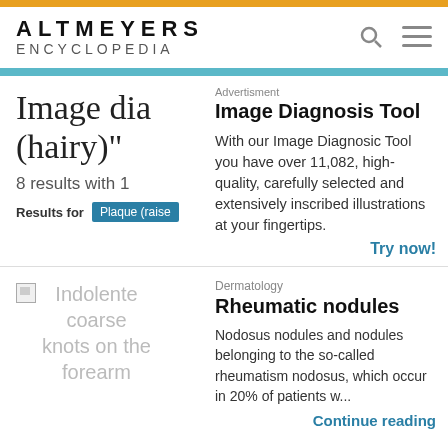ALTMEYERS ENCYCLOPEDIA
Image dia (hairy)"
8 results with 1
Results for Plaque (raise
Advertisment
Image Diagnosis Tool
With our Image Diagnosic Tool you have over 11,082, high-quality, carefully selected and extensively inscribed illustrations at your fingertips.
Try now!
[Figure (photo): Indolente coarse knots on the forearm - placeholder broken image]
Dermatology
Rheumatic nodules
Nodosus nodules and nodules belonging to the so-called rheumatism nodosus, which occur in 20% of patients w...
Continue reading